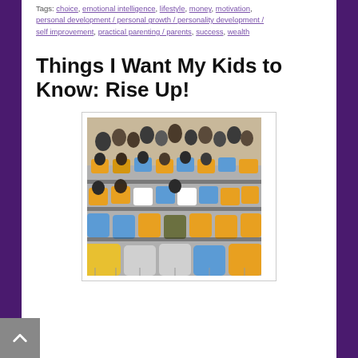Tags: choice, emotional intelligence, lifestyle, money, motivation, personal development / personal growth / personality development / self improvement, practical parenting / parents, success, wealth
Things I Want My Kids to Know: Rise Up!
[Figure (photo): Photo of a lecture hall or auditorium filled with colorful empty chairs — yellow, blue, white, and olive green — arranged in tiered rows, viewed from behind.]